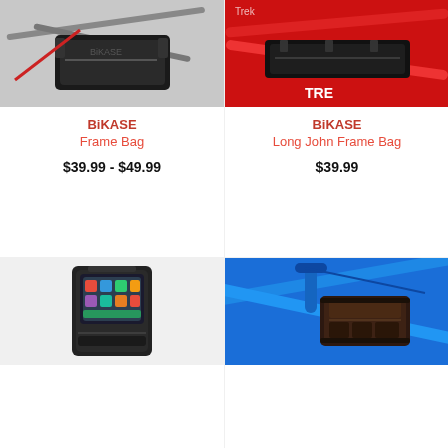[Figure (photo): BiKASE Frame Bag mounted on a bicycle frame, black bag on grey/silver bike]
BiKASE
Frame Bag
$39.99 - $49.99
[Figure (photo): BiKASE Long John Frame Bag mounted on a red Trek bicycle frame]
BiKASE
Long John Frame Bag
$39.99
[Figure (photo): BiKASE phone/touchscreen bag shown standalone, black bag with phone screen visible]
[Figure (photo): BiKASE bag mounted on a blue bicycle frame near handlebars]